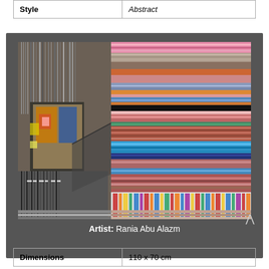| Style | Abstract |
[Figure (photo): Abstract textile/fiber art piece by Rania Abu Alazm featuring colorful horizontal and vertical stripes and woven patterns on the right side with darker architectural-like forms on the left side. The work shows rich textures in pink, blue, red, brown, green and black.]
Artist: Rania Abu Alazm
| Dimensions | 110 x 70 cm |